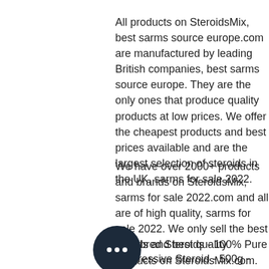All products on SteroidsMix, best sarms source europe.com are manufactured by leading British companies, best sarms source europe. They are the only ones that produce quality products at low prices. We offer the cheapest products and best prices available and are the largest selection of steroids in the UK, sarms for sale 2022.
We have over 2000+ products and brands on SteroidsMix, sarms for sale 2022.com and all are of high quality, sarms for sale 2022. We only sell the best brands and best quality products on SteroidsMix.com. These include:
Strictbred Steroids - 100% Pure
Progressive Steroid - 500g - £19, sarms for sale oral 99, sarms for sale oral